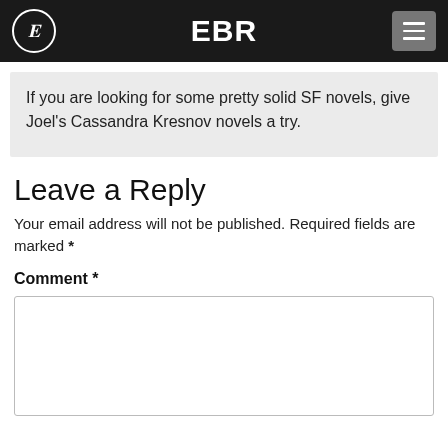EBR
If you are looking for some pretty solid SF novels, give Joel's Cassandra Kresnov novels a try.
Leave a Reply
Your email address will not be published. Required fields are marked *
Comment *